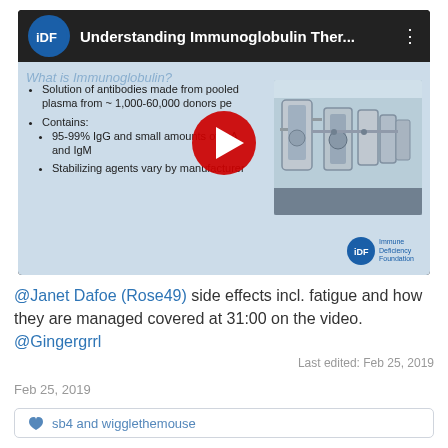[Figure (screenshot): YouTube video thumbnail for 'Understanding Immunoglobulin Ther...' by IDF (Immune Deficiency Foundation). The slide shown lists: Solution of antibodies made from pooled plasma from ~1,000-60,000 donors; Contains: 95-99% IgG and small amounts of IgA and IgM; Stabilizing agents vary by manufacturer. A red YouTube play button is overlaid. A lab equipment photo is visible on the right side of the slide. IDF logo in top-left and bottom-right.]
@Janet Dafoe (Rose49) side effects incl. fatigue and how they are managed covered at 31:00 on the video.
@Gingergrrl
Last edited: Feb 25, 2019
Feb 25, 2019
sb4 and wigglethemouse